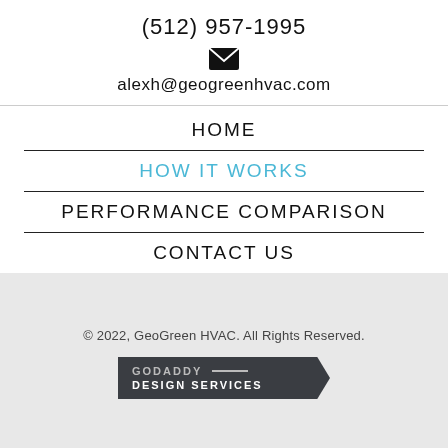(512) 957-1995
[Figure (illustration): Email envelope icon (black)]
alexh@geogreenhvac.com
HOME
HOW IT WORKS
PERFORMANCE COMPARISON
CONTACT US
© 2022, GeoGreen HVAC. All Rights Reserved.
[Figure (logo): GoDaddy Design Services badge/logo]